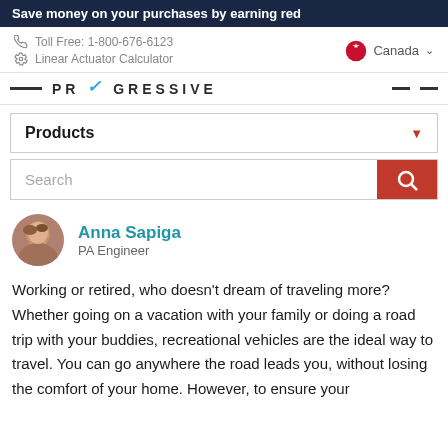Save money on your purchases by earning red
Toll Free: 1-800-676-6123
Linear Actuator Calculator
Canada
PROGRESSIVE
Products
Search
Anna Sapiga
PA Engineer
Working or retired, who doesn't dream of traveling more? Whether going on a vacation with your family or doing a road trip with your buddies, recreational vehicles are the ideal way to travel. You can go anywhere the road leads you, without losing the comfort of your home. However, to ensure your